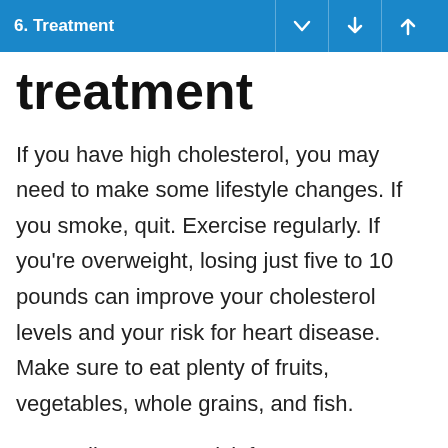6. Treatment
treatment
If you have high cholesterol, you may need to make some lifestyle changes. If you smoke, quit. Exercise regularly. If you're overweight, losing just five to 10 pounds can improve your cholesterol levels and your risk for heart disease. Make sure to eat plenty of fruits, vegetables, whole grains, and fish.
Depending on your risk factors, your doctor may prescribe medicine and lifestyle changes.